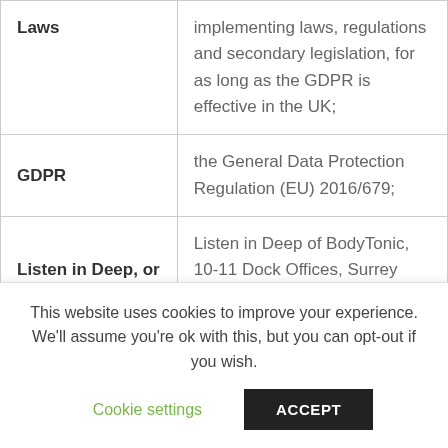| Term | Definition |
| --- | --- |
| Laws | implementing laws, regulations and secondary legislation, for as long as the GDPR is effective in the UK; |
| GDPR | the General Data Protection Regulation (EU) 2016/679; |
| Listen in Deep, or us | Listen in Deep of BodyTonic, 10-11 Dock Offices, Surrey Quays Road, Canada Water, London, SE16 2XU; |
This website uses cookies to improve your experience. We'll assume you're ok with this, but you can opt-out if you wish.
Cookie settings | ACCEPT